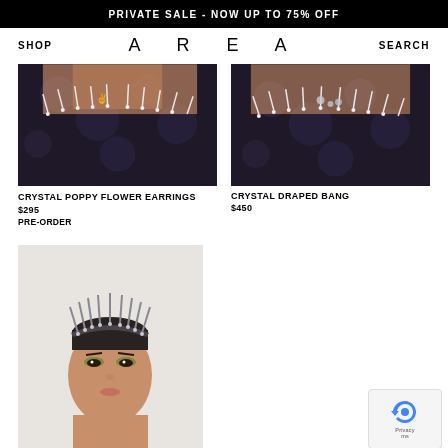PRIVATE SALE - NOW UP TO 75% OFF
SHOP   A  R  E  A   SEARCH
[Figure (photo): Close-up of a model wearing a dark floral patterned top with crystal/rhinestone embellishments and spike details at neckline, tattoo visible]
CRYSTAL POPPY FLOWER EARRINGS
$295
PRE-ORDER
[Figure (photo): Close-up of a model wearing a dark floral patterned top with crystal/rhinestone embellishments and crystal draped bang accessories]
CRYSTAL DRAPED BANG
$450
[Figure (photo): Model wearing a crystal spike headband crown accessory, close-cropped hair, green eye shadow, neutral expression]